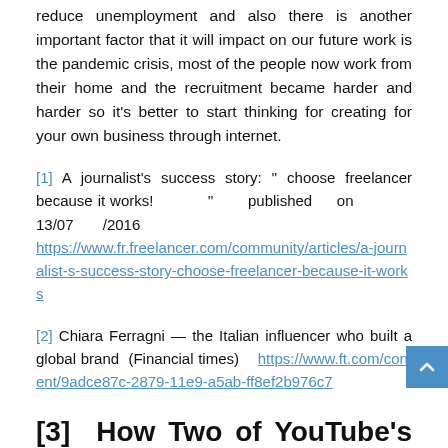reduce unemployment and also there is another important factor that it will impact on our future work is the pandemic crisis, most of the people now work from their home and the recruitment became harder and harder so it's better to start thinking for creating for your own business through internet.
[1] A journalist's success story: '' choose freelancer because it works! '' published on 13/07 /2016 https://www.fr.freelancer.com/community/articles/a-journalist-s-success-story-choose-freelancer-because-it-works
[2] Chiara Ferragni — the Italian influencer who built a global brand (Financial times) https://www.ft.com/content/9adce87c-2879-11e9-a5ab-ff8ef2b976c7
[3] How Two of YouTube's Biggest Stars Became Its